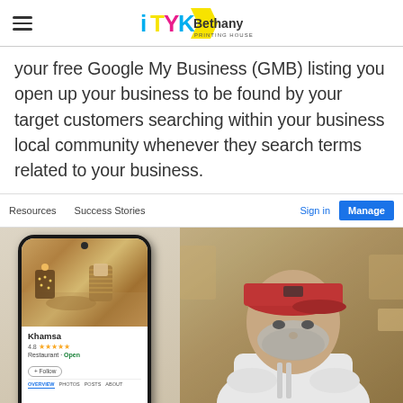Bethany Printing House
your free Google My Business (GMB) listing you open up your business to be found by your target customers searching within your business local community whenever they search terms related to your business.
[Figure (screenshot): Screenshot of Google My Business interface showing navigation bar with Resources, Success Stories, Sign in, and Manage buttons, plus a composite image of a phone showing Khamsa restaurant listing (4.8 stars, Restaurant, Open) alongside a photo of a chef in a white coat and red cap]